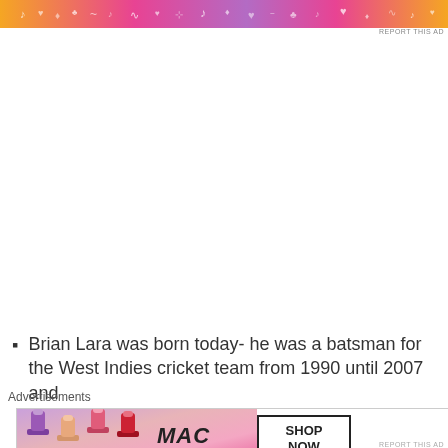[Figure (illustration): Colorful decorative advertisement banner with orange, pink, and purple gradient with music/heart/note icons]
REPORT THIS AD
Brian Lara was born today- he was a batsman for the West Indies cricket team from 1990 until 2007 and
Advertisements
[Figure (photo): MAC cosmetics advertisement showing lipsticks in purple, peach, pink colors alongside MAC logo and SHOP NOW button]